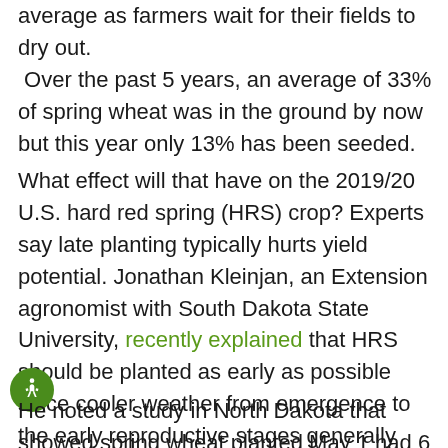average as farmers wait for their fields to dry out. Over the past 5 years, an average of 33% of spring wheat was in the ground by now but this year only 13% has been seeded.
What effect will that have on the 2019/20 U.S. hard red spring (HRS) crop? Experts say late planting typically hurts yield potential. Jonathan Kleinjan, an Extension agronomist with South Dakota State University, recently explained that HRS should be planted as early as possible since cooler weather from emergence to the early reproductive stages generally benefits tiller formation and the development of larger heads. Increased growth during the early season typically results in higher yields.
He noted a study in North Dakota that showed spring wheat planted May 1 had 6 fewer days of growth from emergence to 6-leaf stage when compared to